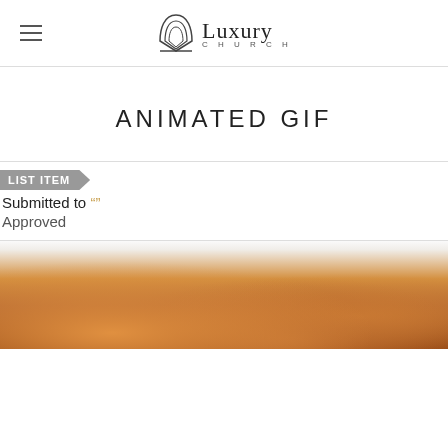Luxury Church
ANIMATED GIF
Submitted to "" Approved
[Figure (photo): Bottom portion of page shows a blurred close-up photo of a fluffy orange/brown animal (likely a dog or cat), with warm amber and brown tones.]